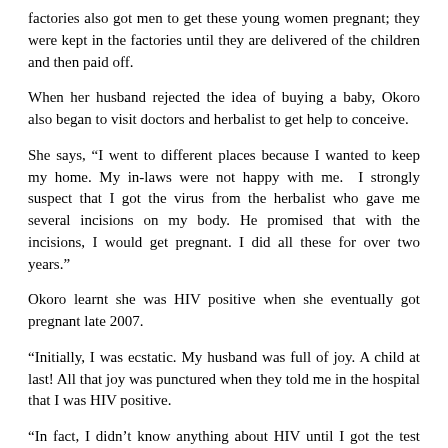factories also got men to get these young women pregnant; they were kept in the factories until they are delivered of the children and then paid off.
When her husband rejected the idea of buying a baby, Okoro also began to visit doctors and herbalist to get help to conceive.
She says, “I went to different places because I wanted to keep my home. My in-laws were not happy with me. I strongly suspect that I got the virus from the herbalist who gave me several incisions on my body. He promised that with the incisions, I would get pregnant. I did all these for over two years.”
Okoro learnt she was HIV positive when she eventually got pregnant late 2007.
“Initially, I was ecstatic. My husband was full of joy. A child at last! All that joy was punctured when they told me in the hospital that I was HIV positive.
“In fact, I didn’t know anything about HIV until I got the test result. When I got home and told my husband, he was very sad.